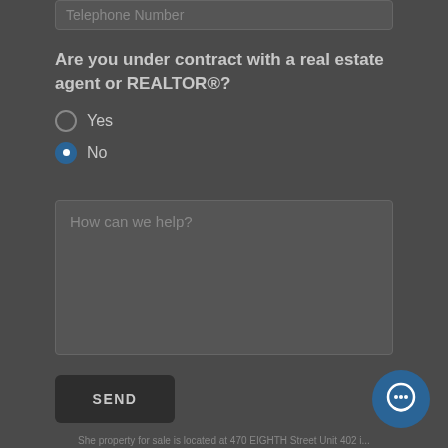Telephone Number
Are you under contract with a real estate agent or REALTOR®?
Yes
No
How can we help?
SEND
She property for sale is located at 470 EIGHTH Street Unit 402 i...